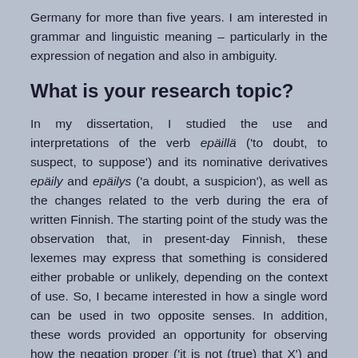Germany for more than five years. I am interested in grammar and linguistic meaning – particularly in the expression of negation and also in ambiguity.
What is your research topic?
In my dissertation, I studied the use and interpretations of the verb epäillä ('to doubt, to suspect, to suppose') and its nominative derivatives epäily and epäilys ('a doubt, a suspicion'), as well as the changes related to the verb during the era of written Finnish. The starting point of the study was the observation that, in present-day Finnish, these lexemes may express that something is considered either probable or unlikely, depending on the context of use. So, I became interested in how a single word can be used in two opposite senses. In addition, these words provided an opportunity for observing how the negation proper ('it is not (true) that X') and the so-called evaluative negativity ('it's not good that X', 'I don't like X') relate to each other in language use, since both of these aspects of